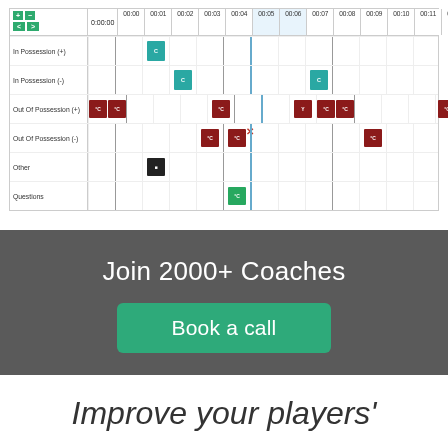[Figure (screenshot): A timeline/tagging interface showing rows: In Possession (+), In Possession (-), Out Of Possession (+), Out Of Possession (-), Other, Questions, with time columns from 00:00 to 00:12. Various colored event blocks are placed in the timeline cells.]
Join 2000+ Coaches
Book a call
Improve your players'